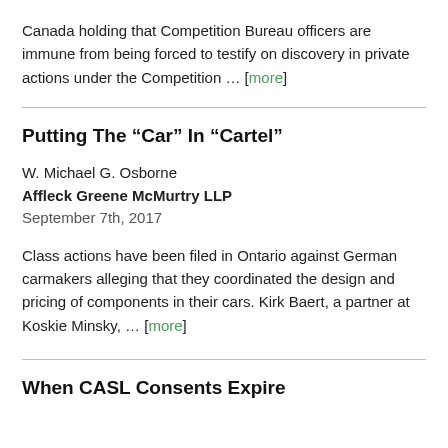Canada holding that Competition Bureau officers are immune from being forced to testify on discovery in private actions under the Competition … [more]
Putting The “Car” In “Cartel”
W. Michael G. Osborne
Affleck Greene McMurtry LLP
September 7th, 2017
Class actions have been filed in Ontario against German carmakers alleging that they coordinated the design and pricing of components in their cars. Kirk Baert, a partner at Koskie Minsky, … [more]
When CASL Consents Expire